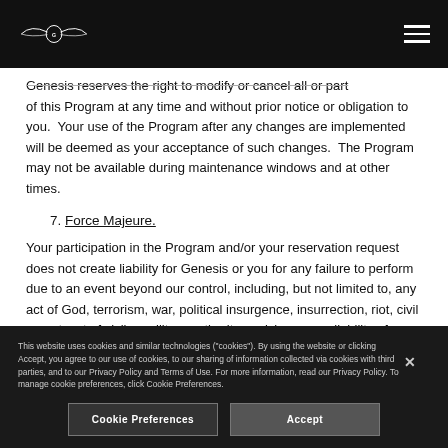Genesis logo and navigation menu
Genesis reserves the right to modify or cancel all or part of this Program at any time and without prior notice or obligation to you. Your use of the Program after any changes are implemented will be deemed as your acceptance of such changes. The Program may not be available during maintenance windows and at other times.
7. Force Majeure.
Your participation in the Program and/or your reservation request does not create liability for Genesis or you for any failure to perform due to an event beyond our control, including, but not limited to, any act of God, terrorism, war, political insurgence, insurrection, riot, civil unrest, act of civil or military authority, uprising, unavailability of materials, strike, earthquake, flood or any other natural or man-made eventuality outside of our control.
This website uses cookies and similar technologies ("cookies"). By using the website or clicking Accept, you agree to our use of cookies, to our sharing of information collected via cookies with third parties, and to our Privacy Policy and Terms of Use. For more information, read our Privacy Policy. To manage cookie preferences, click Cookie Preferences.